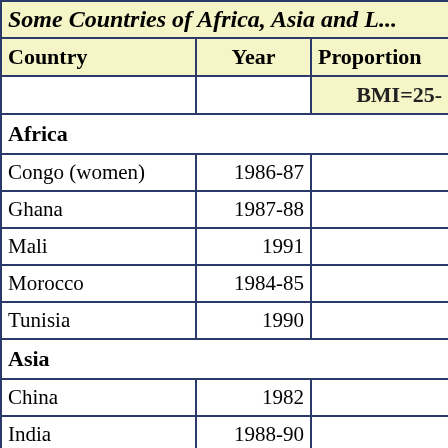| Country | Year | Proportion BMI=25- |
| --- | --- | --- |
| Africa |  |  |
| Congo (women) | 1986-87 |  |
| Ghana | 1987-88 |  |
| Mali | 1991 |  |
| Morocco | 1984-85 |  |
| Tunisia | 1990 |  |
| Asia |  |  |
| China | 1982 |  |
| India | 1988-90 |  |
| Latin America |  |  |